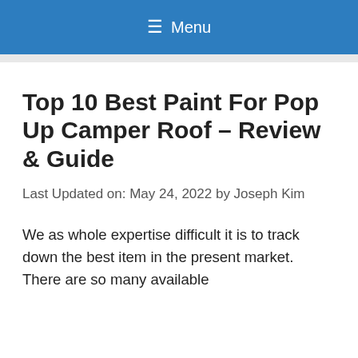≡ Menu
Top 10 Best Paint For Pop Up Camper Roof – Review & Guide
Last Updated on: May 24, 2022 by Joseph Kim
We as whole expertise difficult it is to track down the best item in the present market. There are so many available